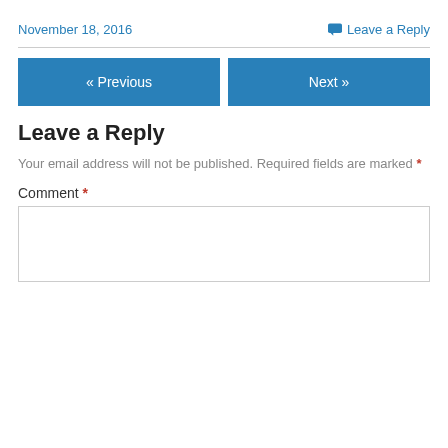November 18, 2016
Leave a Reply
« Previous
Next »
Leave a Reply
Your email address will not be published. Required fields are marked *
Comment *